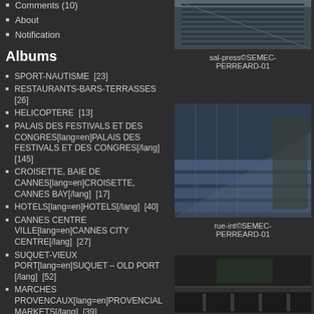Comments (10)
About
Notification
Albums
SPORT-NAUTISME  [23]
RESTAURANTS-BARS-TERRASSES  [26]
HELICOPTERE  [13]
PALAIS DES FESTIVALS ET DES CONGRES[lang=en]PALAIS DES FESTIVALS ET DES CONGRES[/lang]  [145]
CROISETTE, BAIE DE CANNES[lang=en]CROISETTE, CANNES BAY[/lang]  [17]
HOTELS[lang=en]HOTELS[/lang]  [40]
CANNES CENTRE VILLE[lang=en]CANNES CITY CENTRE[/lang]  [27]
SUQUET-VIEUX PORT[lang=en]SUQUET – OLD PORT [/lang]  [52]
MARCHES PROVENCAUX[lang=en]PROVENCIAL MARKETS[/lang]  [39]
PLAGES[lang=en]BEACHES[/lang]  [68]
ILES DE LERINS[lang=en]LERINS ISLANDS[/lang]  [90]
SPECTACLES-EVENEMENTS-CULTURE[lang=en]ENTERTAINMENT[/lang]
[Figure (photo): Aerial/detail photo, sal-press©SEMEC-PERREARD-01]
sal-press©SEMEC-PERREARD-01
[Figure (photo): Interior staircase photo, rue-int©SEMEC-PERREARD-01]
rue-int©SEMEC-PERREARD-01
[Figure (photo): Interior hall photo]